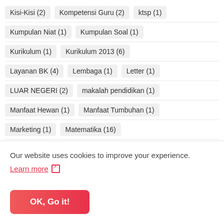Kisi-Kisi (2)   Kompetensi Guru (2)   ktsp (1)
Kumpulan Niat (1)   Kumpulan Soal (1)
Kurikulum (1)   Kurikulum 2013 (6)
Layanan BK (4)   Lembaga (1)   Letter (1)
LUAR NEGERI (2)   makalah pendidikan (1)
Manfaat Hewan (1)   Manfaat Tumbuhan (1)
Marketing (1)   Matematika (16)
Matematika Realistik (1)   Materi IPTEK (1)
Materi Kelas 9 Semester Ganjil (1)
Media Belajar (1)   Media BK (7)
Our website uses cookies to improve your experience.
Learn more ↗
OK, Go it!